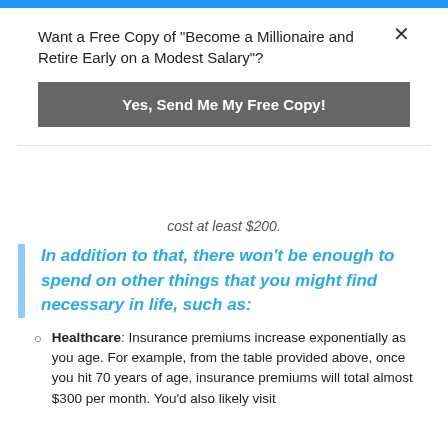Want a Free Copy of "Become a Millionaire and Retire Early on a Modest Salary"?
Yes, Send Me My Free Copy!
cost at least $200.
In addition to that, there won't be enough to spend on other things that you might find necessary in life, such as:
Healthcare: Insurance premiums increase exponentially as you age. For example, from the table provided above, once you hit 70 years of age, insurance premiums will total almost $300 per month. You'd also likely visit